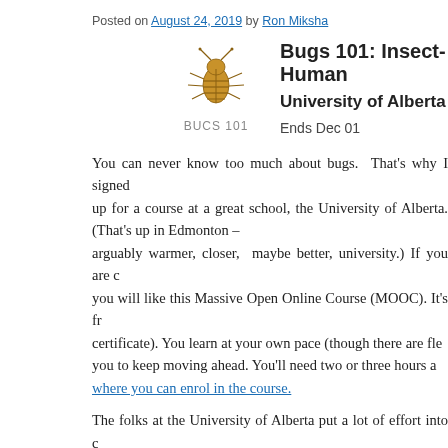Posted on August 24, 2019 by Ron Miksha
[Figure (illustration): Bug/beetle illustration with 'BUCS 101' text below, alongside course title 'Bugs 101: Insect-Human', university 'University of Alberta', and 'Ends Dec 01']
You can never know too much about bugs.  That's why I signed up for a course at a great school, the University of Alberta. (That's up in Edmonton – arguably warmer, closer,  maybe better, university.) If you are curious about bugs, you will like this Massive Open Online Course (MOOC). It's free (though you can pay for a certificate). You learn at your own pace (though there are flexible deadlines to encourage you to keep moving ahead. You'll need two or three hours a week. Here is where you can enrol in the course.
The folks at the University of Alberta put a lot of effort into creating videos, quizzes, interactive practice, discussion forums, well-selected readings. I